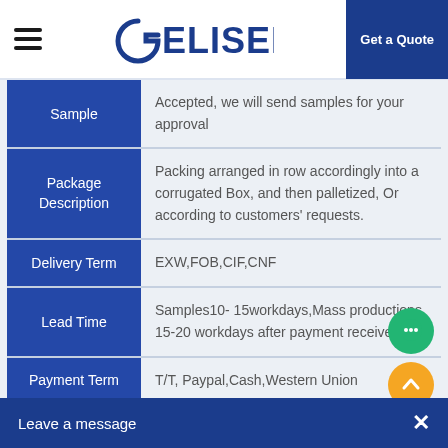GELISEN | Get a Quote
|  |  |
| --- | --- |
| Sample | Accepted, we will send samples for your approval |
| Package Description | Packing arranged in row accordingly into a corrugated Box, and then palletized, Or according to customers' requests. |
| Delivery Term | EXW,FOB,CIF,CNF |
| Lead Time | Samples10- 15workdays,Mass productions 15-20 workdays after payment received. |
| Payment Term | T/T, Paypal,Cash,Western Union |
Leave a message